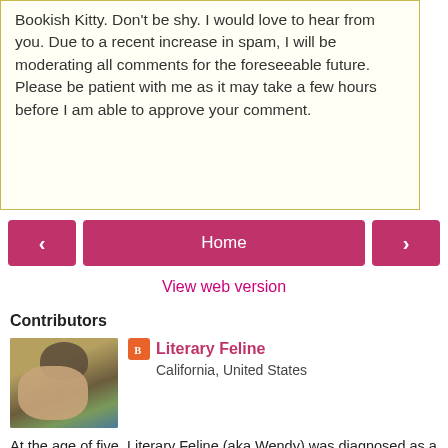Bookish Kitty. Don't be shy. I would love to hear from you. Due to a recent increase in spam, I will be moderating all comments for the foreseeable future. Please be patient with me as it may take a few hours before I am able to approve your comment.
[Figure (other): Navigation buttons: left arrow, Home, right arrow]
View web version
Contributors
[Figure (photo): Profile photo of Literary Feline showing a cat sitting on a person's head]
Literary Feline
California, United States
At the age of five, Literary Feline (aka Wendy) was diagnosed as a fabulavore. Due to the low story content of movies and television, she has required a steady supply of books to provide her sustenance. She currently resides in California with her loving husband, adorable daughter, and two affectionate and sassy cats. Literary Feline has broadened her nutritional sources by reviewing books. Please note: Literary Feline is not a bibliovore. She's not